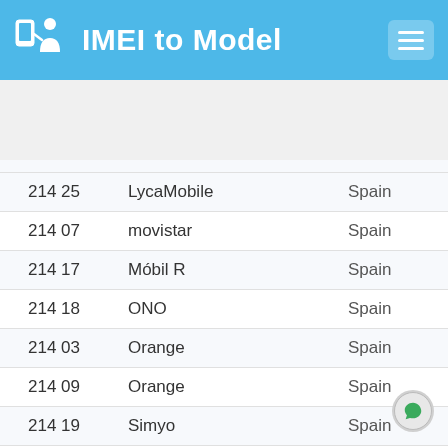IMEI to Model
| Code | Operator | Country |
| --- | --- | --- |
| 214 25 | LycaMobile | Spain |
| 214 07 | movistar | Spain |
| 214 17 | Móbil R | Spain |
| 214 18 | ONO | Spain |
| 214 03 | Orange | Spain |
| 214 09 | Orange | Spain |
| 214 19 | Simyo | Spain |
| 214 16 | TeleCable | Spain |
| 214 05 | TME | Spain |